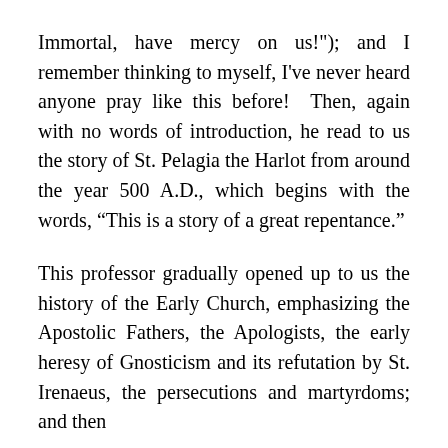Immortal, have mercy on us!"); and I remember thinking to myself, I've never heard anyone pray like this before! Then, again with no words of introduction, he read to us the story of St. Pelagia the Harlot from around the year 500 A.D., which begins with the words, “This is a story of a great repentance.”
This professor gradually opened up to us the history of the Early Church, emphasizing the Apostolic Fathers, the Apologists, the early heresy of Gnosticism and its refutation by St. Irenaeus, the persecutions and martyrdoms; and then